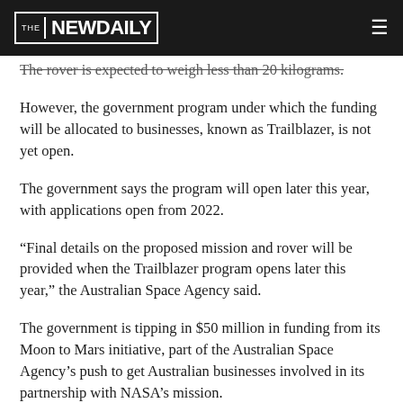THE NEW DAILY
The rover is expected to weigh less than 20 kilograms.
However, the government program under which the funding will be allocated to businesses, known as Trailblazer, is not yet open.
The government says the program will open later this year, with applications open from 2022.
“Final details on the proposed mission and rover will be provided when the Trailblazer program opens later this year,” the Australian Space Agency said.
The government is tipping in $50 million in funding from its Moon to Mars initiative, part of the Australian Space Agency’s push to get Australian businesses involved in its partnership with NASA’s mission.